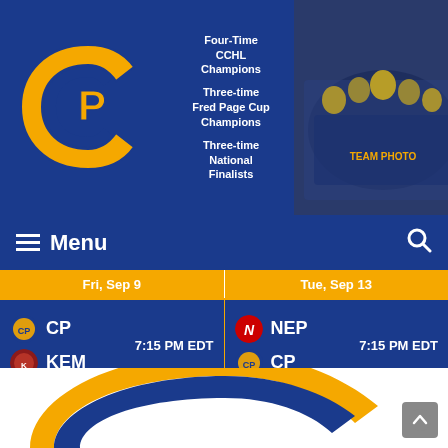[Figure (screenshot): Clarence-Rockland Canadians hockey team website screenshot showing header with CP logo, team achievements text, team photo, navigation menu bar, upcoming game schedule (Fri Sep 9: CP vs KEM 7:15 PM EDT; Tue Sep 13: NEP vs CP 7:15 PM EDT), and article preview for 'Canadians Season Recap' dated May 1 2022 with partial CP logo at bottom.]